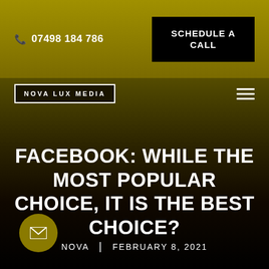07498 184 786
SCHEDULE A CALL
[Figure (logo): Nova Lux Media logo — white text on dark background with border]
[Figure (other): Hamburger menu icon — three horizontal white lines]
FACEBOOK: WHILE THE MOST POPULAR CHOICE, IT IS THE BEST CHOICE?
NOVA | FEBRUARY 8, 2021
[Figure (other): Gold circular email contact button with envelope icon]